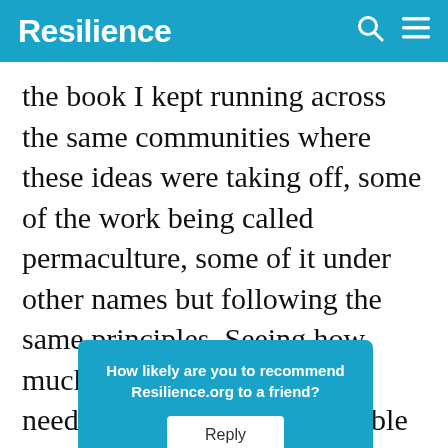Resilience
the book I kept running across the same communities where these ideas were taking off, some of the work being called permaculture, some of it under other names but following the same principles. Seeing how much innovative and badly needed work toward sustainable systems was being done in cities and suburbs and wanting … was what m…
How likely are you to recommend Resilience.org to a friend? Reply